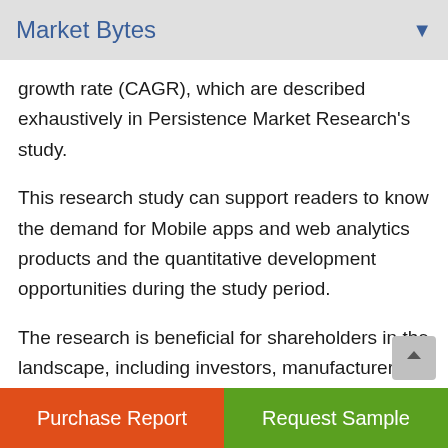Market Bytes
growth rate (CAGR), which are described exhaustively in Persistence Market Research's study.
This research study can support readers to know the demand for Mobile apps and web analytics products and the quantitative development opportunities during the study period.
The research is beneficial for shareholders in the landscape, including investors, manufacturers service providers, distributors, and suppliers.
Purchase Report | Request Sample